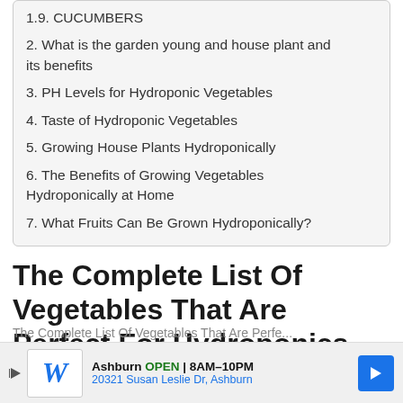1.9. CUCUMBERS
2. What is the garden young and house plant and its benefits
3. PH Levels for Hydroponic Vegetables
4. Taste of Hydroponic Vegetables
5. Growing House Plants Hydroponically
6. The Benefits of Growing Vegetables Hydroponically at Home
7. What Fruits Can Be Grown Hydroponically?
The Complete List Of Vegetables That Are Perfect For Hydroponics
The Complete List Of Vegetables That Are Perfect...
Ashburn OPEN 8AM–10PM 20321 Susan Leslie Dr, Ashburn